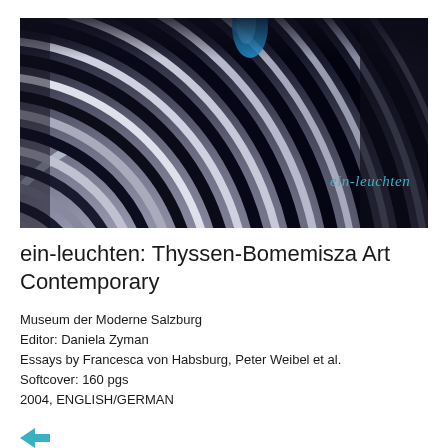[Figure (photo): Close-up abstract photograph of concentric curved stripes in dark blue/purple and white, with a bright blue accent near top center, and dark vignette edges. Text 'ein-leuchten' in teal italic appears in lower right area of image.]
ein-leuchten: Thyssen-Bomemisza Art Contemporary
Museum der Moderne Salzburg
Editor: Daniela Zyman
Essays by Francesca von Habsburg, Peter Weibel et al.
Softcover: 160 pgs
2004, ENGLISH/GERMAN